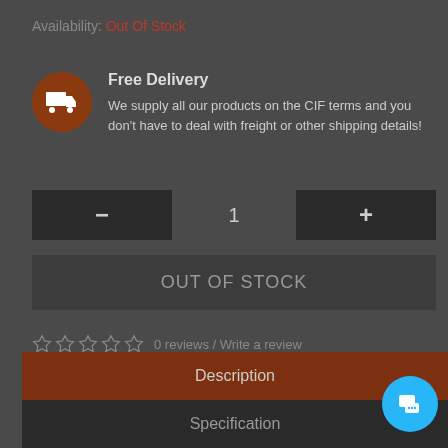Availability: Out Of Stock
Free Delivery
We supply all our products on the CIF terms and you don't have to deal with freight or other shipping details!
- 1 +
OUT OF STOCK
0 reviews / Write a review
Description
Specification